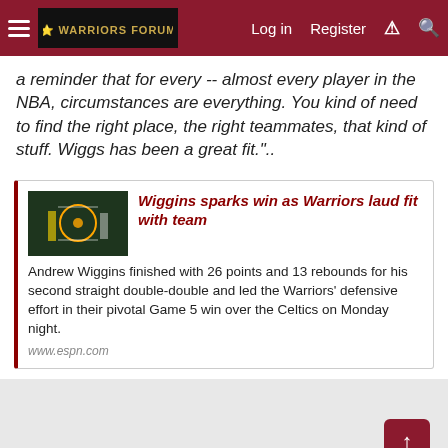Log in | Register
a reminder that for every -- almost every player in the NBA, circumstances are everything. You kind of need to find the right place, the right teammates, that kind of stuff. Wiggs has been a great fit."..
[Figure (screenshot): Link card with thumbnail image of a basketball game, article title 'Wiggins sparks win as Warriors laud fit with team' and description text from ESPN]
www.espn.com